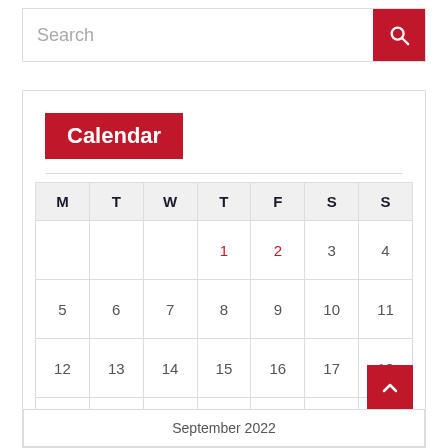[Figure (screenshot): Search input box with red search button icon on the right]
Calendar
| M | T | W | T | F | S | S |
| --- | --- | --- | --- | --- | --- | --- |
|  |  |  | 1 | 2 | 3 | 4 |
| 5 | 6 | 7 | 8 | 9 | 10 | 11 |
| 12 | 13 | 14 | 15 | 16 | 17 | 18 |
| 19 | 20 | 21 | 22 | 23 | 24 | 25 |
| 26 | 27 | 28 | 29 | 30 |  |  |
September 2022